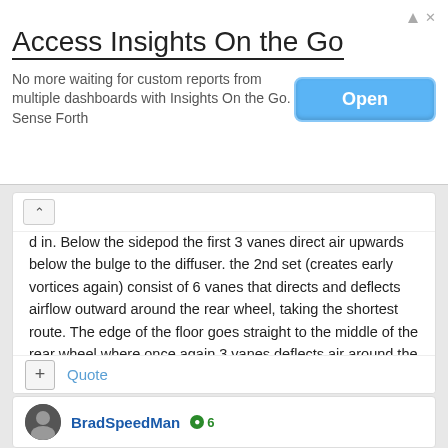[Figure (screenshot): Advertisement banner for 'Access Insights On the Go' app with an Open button]
Access Insights On the Go
No more waiting for custom reports from multiple dashboards with Insights On the Go. Sense Forth
d in. Below the sidepod the first 3 vanes direct air upwards below the bulge to the diffuser. the 2nd set (creates early vortices again) consist of 6 vanes that directs and deflects airflow outward around the rear wheel, taking the shortest route. The edge of the floor goes straight to the middle of the rear wheel where once again 3 vanes deflects air around the rear wheel... The remaining airflow gets directed with 2 Inner vanes between the rear-brake ducts and inner side of tyre... Novel and Fascinating.
This new floor regulation is really interesting and how the teams manages to limit the drag with lower downforce.
https://the-race.com/formula-1/aston-martins-new-f1-floor-explained/
Quote
BradSpeedMan  6